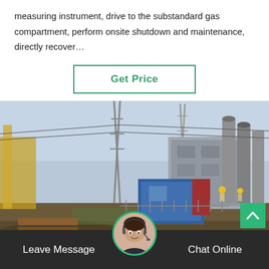measuring instrument, drive to the substandard gas compartment, perform onsite shutdown and maintenance, directly recover…
Get Price
[Figure (photo): Industrial substation or power plant site with electrical transmission equipment, transformers, pylons, and workers in hard hats visible. A blue portable cabin/container is in the center. Construction debris and earthwork in foreground.]
Leave Message
Chat Online